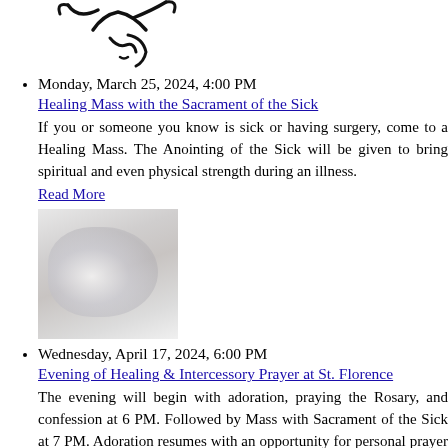[Figure (illustration): Partial black line drawing of a figure, showing stylized arms raised and a face with minimal features (chin/mouth area visible)]
Monday, March 25, 2024, 4:00 PM
Healing Mass with the Sacrament of the Sick
If you or someone you know is sick or having surgery, come to a Healing Mass. The Anointing of the Sick will be given to bring spiritual and even physical strength during an illness.
Read More
[Figure (photo): Blurred/soft photo of hands, light colors, white and gray tones suggesting a healing or prayer context]
Wednesday, April 17, 2024, 6:00 PM
Evening of Healing & Intercessory Prayer at St. Florence
The evening will begin with adoration, praying the Rosary, and confession at 6 PM. Followed by Mass with Sacrament of the Sick at 7 PM. Adoration resumes with an opportunity for personal prayer at 8 PM.
Read More